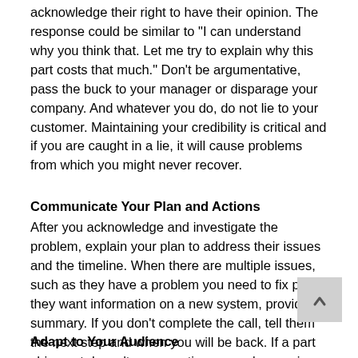acknowledge their right to have their opinion. The response could be similar to "I can understand why you think that. Let me try to explain why this part costs that much." Don't be argumentative, pass the buck to your manager or disparage your company. And whatever you do, do not lie to your customer. Maintaining your credibility is critical and if you are caught in a lie, it will cause problems from which you might never recover.
Communicate Your Plan and Actions
After you acknowledge and investigate the problem, explain your plan to address their issues and the timeline. When there are multiple issues, such as they have a problem you need to fix plus they want information on a new system, provide a summary. If you don't complete the call, tell them the next step and when you will be back. If a part shipment doesn't come on time or you're running late, apologize and let them know when you will be there, as soon as you can. Provide regular progress reports, without overdoing it and annoying them.
Adapt to Your Audience